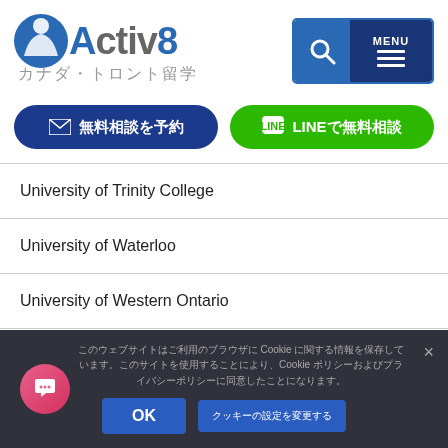[Figure (logo): Activ8 カナダ・トロント留学 logo with blue circle containing stylized person icon, text 'Activ8' in grey and blue, subtitle in Japanese]
[Figure (screenshot): Navigation icons: blue search icon and dark blue MENU hamburger icon]
[Figure (screenshot): Button: 無料相談を予約 (dark blue rounded button with envelope icon)]
[Figure (screenshot): Button: LINEで無料相談 (green rounded button with LINE icon)]
| University of Trinity College |
| University of Waterloo |
| University of Western Ontario |
|  |
このウェブサイトはCookieを使用しています。このサイトを使用することで、CookieポリシーおよびプライバシーポリシーCookieの使用に同意したことになります。